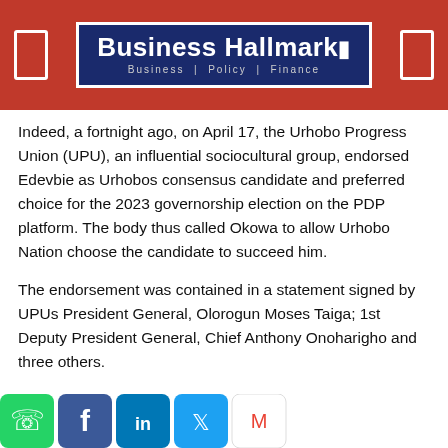Business Hallmark — Business | Policy | Finance
Indeed, a fortnight ago, on April 17, the Urhobo Progress Union (UPU), an influential sociocultural group, endorsed Edevbie as Urhobos consensus candidate and preferred choice for the 2023 governorship election on the PDP platform. The body thus called Okowa to allow Urhobo Nation choose the candidate to succeed him.
The endorsement was contained in a statement signed by UPUs President General, Olorogun Moses Taiga; 1st Deputy President General, Chief Anthony Onoharigho and three others.
The statement said in part, “That after thoroughly examining and analysing all the aspirants, we have, however, reached a consensus that Olorogun David Edevbie, is the best person for the job at this time. Over time, he has acquired impressive public sector ...in ...a State and Federal Government, and ...